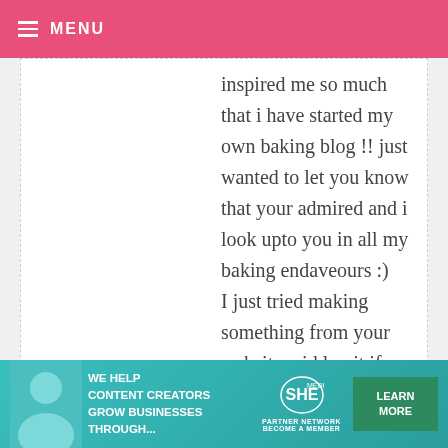MENU
inspired me so much that i have started my own baking blog !! just wanted to let you know that your admired and i look upto you in all my baking endaveours :) I just tried making something from your website ...id luv it if you cud give ur comments on my work !! :)
SOUTH CAMPUS BAKERY — FEBRUARY 20, 2010 @ 3:30 AM  REPLY
[Figure (infographic): SHE Media Partner Network advertisement banner: We help content creators grow businesses through...]